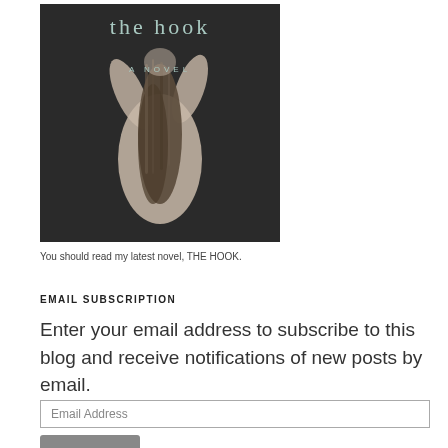[Figure (illustration): Book cover of 'the hook – A Novel' showing a black and white photo of a woman's bare back with long hair raised above her head, against a dark background]
You should read my latest novel, THE HOOK.
EMAIL SUBSCRIPTION
Enter your email address to subscribe to this blog and receive notifications of new posts by email.